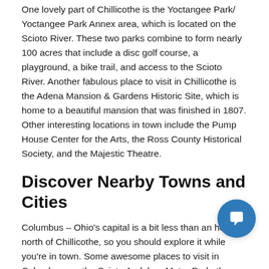One lovely part of Chillicothe is the Yoctangee Park/ Yoctangee Park Annex area, which is located on the Scioto River. These two parks combine to form nearly 100 acres that include a disc golf course, a playground, a bike trail, and access to the Scioto River. Another fabulous place to visit in Chillicothe is the Adena Mansion & Gardens Historic Site, which is home to a beautiful mansion that was finished in 1807. Other interesting locations in town include the Pump House Center for the Arts, the Ross County Historical Society, and the Majestic Theatre.
Discover Nearby Towns and Cities
Columbus – Ohio's capital is a bit less than an hour north of Chillicothe, so you should explore it while you're in town. Some awesome places to visit in Columbus are the Scioto Audubon Metro Park, the Columbus Museum of Art, and Ohio State University.
230+ Restaurants